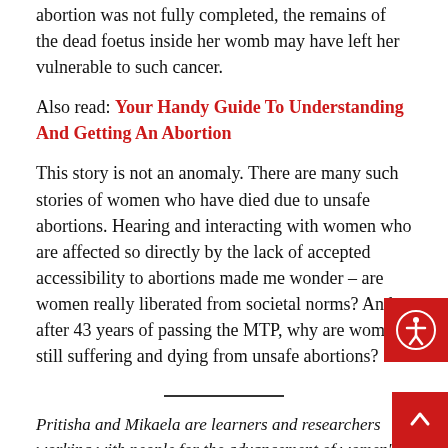abortion was not fully completed, the remains of the dead foetus inside her womb may have left her vulnerable to such cancer.
Also read: Your Handy Guide To Understanding And Getting An Abortion
This story is not an anomaly. There are many such stories of women who have died due to unsafe abortions. Hearing and interacting with women who are affected so directly by the lack of accepted accessibility to abortions made me wonder – are women really liberated from societal norms? And, after 43 years of passing the MTP, why are women still suffering and dying from unsafe abortions?
Pritisha and Mikaela are learners and researchers working with people for the advancement of women's rights.